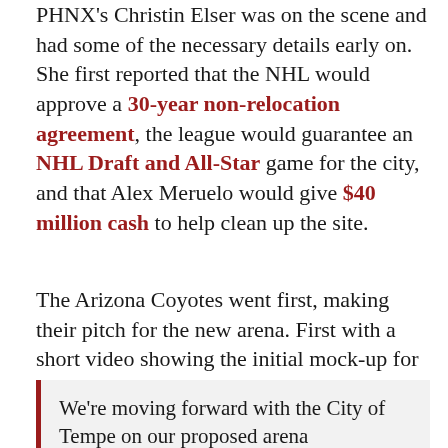PHNX's Christin Elser was on the scene and had some of the necessary details early on. She first reported that the NHL would approve a 30-year non-relocation agreement, the league would guarantee an NHL Draft and All-Star game for the city, and that Alex Meruelo would give $40 million cash to help clean up the site.
The Arizona Coyotes went first, making their pitch for the new arena. First with a short video showing the initial mock-up for the project, a fantastic video that shows what could be done with the area if the city elected to move forward.
We're moving forward with the City of Tempe on our proposed arena development project.